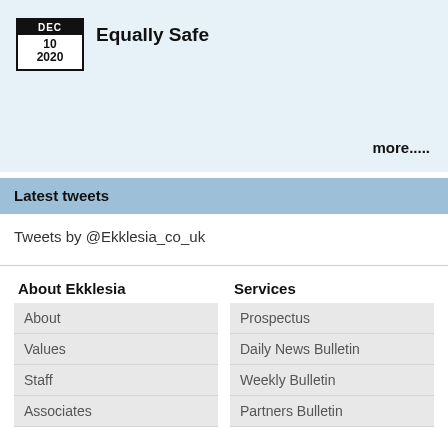[Figure (other): Date badge showing DEC 10 2020]
Equally Safe
more.....
Latest tweets
Tweets by @Ekklesia_co_uk
About Ekklesia
About
Values
Staff
Associates
Services
Prospectus
Daily News Bulletin
Weekly Bulletin
Partners Bulletin